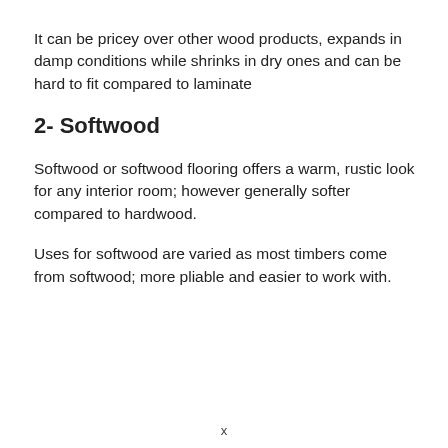It can be pricey over other wood products, expands in damp conditions while shrinks in dry ones and can be hard to fit compared to laminate
2- Softwood
Softwood or softwood flooring offers a warm, rustic look for any interior room; however generally softer compared to hardwood.
Uses for softwood are varied as most timbers come from softwood; more pliable and easier to work with.
x